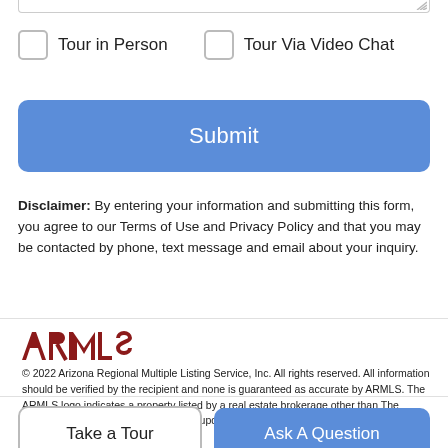Tour in Person
Tour Via Video Chat
Submit
Disclaimer: By entering your information and submitting this form, you agree to our Terms of Use and Privacy Policy and that you may be contacted by phone, text message and email about your inquiry.
[Figure (logo): ARMLS logo in dark red bold letters]
© 2022 Arizona Regional Multiple Listing Service, Inc. All rights reserved. All information should be verified by the recipient and none is guaranteed as accurate by ARMLS. The ARMLS logo indicates a property listed by a real estate brokerage other than The Ethridge Team - eXp Realty. Data last updated 2022-08-24T13:16:45.103.
Take a Tour
Ask A Question